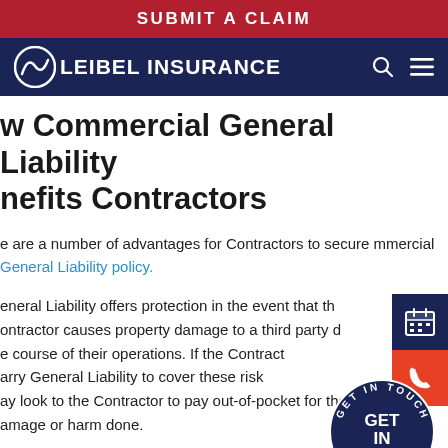SUBMIT A CLAIM
[Figure (logo): Leibel Insurance logo with navigation bar on dark blue background, search and menu icons]
w Commercial General Liability nefits Contractors
e are a number of advantages for Contractors to secure mmercial General Liability policy.
eneral Liability offers protection in the event that the ontractor causes property damage to a third party during e course of their operations. If the Contractor does not arry General Liability to cover these risks, the owner ay look to the Contractor to pay out-of-pocket for the amage or harm done.